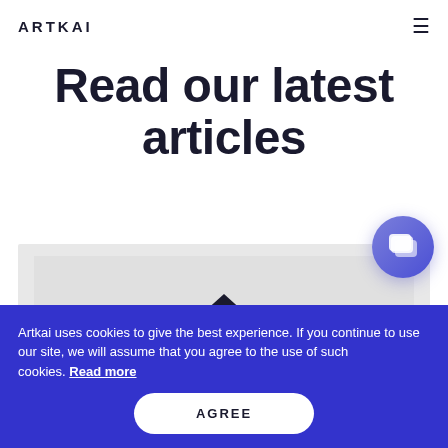ARTKAI
Read our latest articles
[Figure (photo): Article thumbnail image showing glasses and a small house icon on a light gray background]
[Figure (illustration): Purple circular chat/support button with speech bubble icon in the top-right of the image area]
Artkai uses cookies to give the best experience. If you continue to use our site, we will assume that you agree to the use of such cookies. Read more
AGREE